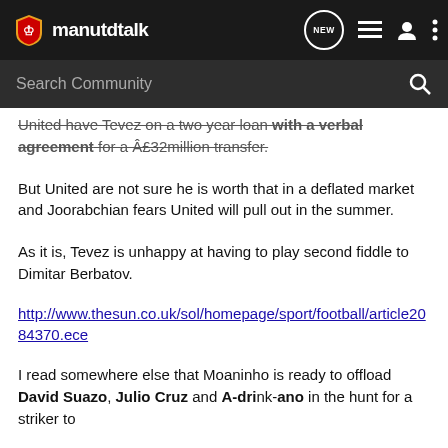manutdtalk
United have Tevez on a two year loan with a verbal agreement for a £32million transfer.
But United are not sure he is worth that in a deflated market and Joorabchian fears United will pull out in the summer.
As it is, Tevez is unhappy at having to play second fiddle to Dimitar Berbatov.
http://www.thesun.co.uk/sol/homepage/sport/football/article2084370.ece
I read somewhere else that Moaninho is ready to offload David Suazo, Julio Cruz and A-drink-ano in the hunt for a striker to